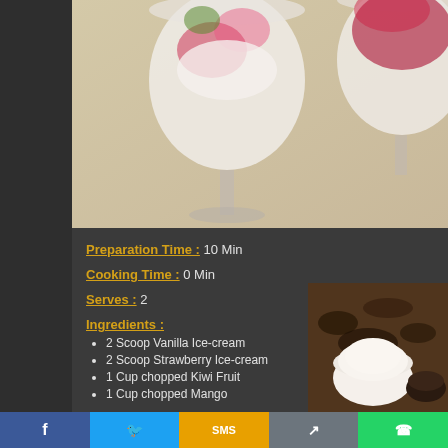[Figure (photo): Two decorative wine glasses filled with ice cream and fruit (kiwi, mango, strawberry) viewed from above on a light surface]
Preparation Time : 10 Min
Cooking Time : 0 Min
Serves : 2
Ingredients :
2 Scoop Vanilla Ice-cream
2 Scoop Strawberry Ice-cream
1 Cup chopped Kiwi Fruit
1 Cup chopped Mango
[Figure (photo): A small white bowl of cream/ice cream next to dark chocolate or cocoa powder]
Social sharing bar: Facebook, Twitter, SMS, Share, WhatsApp